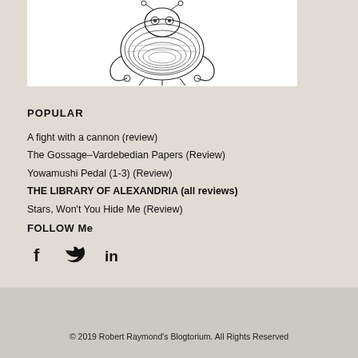[Figure (illustration): Black and white illustration of a decorative creature or figure, appearing like a fantastical insect or alien with layered textures and curled appendages]
POPULAR
A fight with a cannon (review)
The Gossage–Vardebedian Papers (Review)
Yowamushi Pedal (1-3) (Review)
THE LIBRARY OF ALEXANDRIA (all reviews)
Stars, Won't You Hide Me (Review)
FOLLOW Me
[Figure (logo): Social media icons: Facebook (f), Twitter (bird), LinkedIn (in)]
© 2019 Robert Raymond's Blogtorium. All Rights Reserved